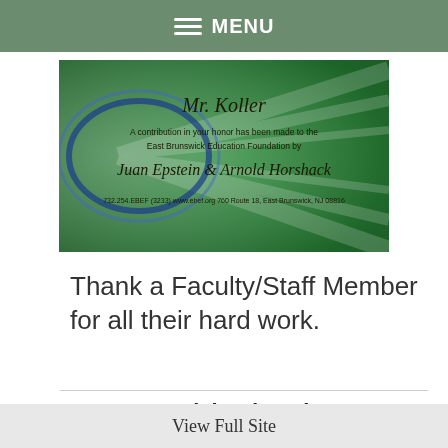MENU
[Figure (photo): Certificate card with green background. Text reads: Mr. Koller. A contribution in your honor has been made to the East Brunswick Education Foundation by Juan Epstein & Arnold Horshack. 732.254.EBEF (3233) www.ebef.org 760 Route 18, East Brunswick, NJ 08816]
Thank a Faculty/Staff Member for all their hard work.
East Brunswick Education Foundation Goes the Distance to Support Teachers
View Full Site